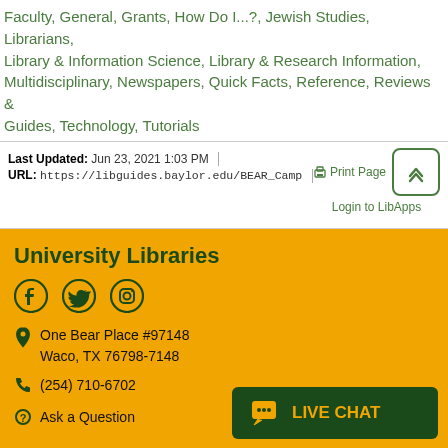Faculty, General, Grants, How Do I...?, Jewish Studies, Librarians, Library & Information Science, Library & Research Information, Multidisciplinary, Newspapers, Quick Facts, Reference, Reviews & Guides, Technology, Tutorials
Last Updated: Jun 23, 2021 1:03 PM | URL: https://libguides.baylor.edu/BEAR_Camp | Print Page | Login to LibApps
University Libraries | One Bear Place #97148, Waco, TX 76798-7148 | (254) 710-6702 | Ask a Question | LIVE CHAT